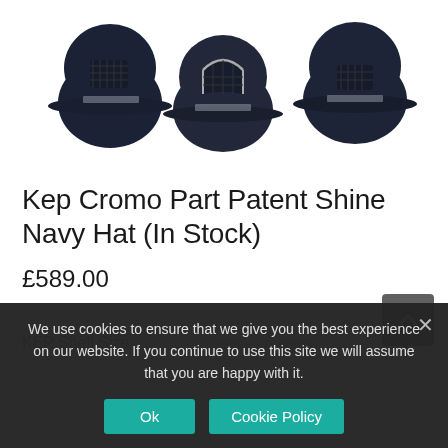[Figure (photo): Three dark navy equestrian helmets shown from different angles on a white background]
Kep Cromo Part Patent Shine Navy Hat (In Stock)
£589.00
KEP Shell Size — Choose an option dropdown
We use cookies to ensure that we give you the best experience on our website. If you continue to use this site we will assume that you are happy with it.
Ok | Cookie Policy